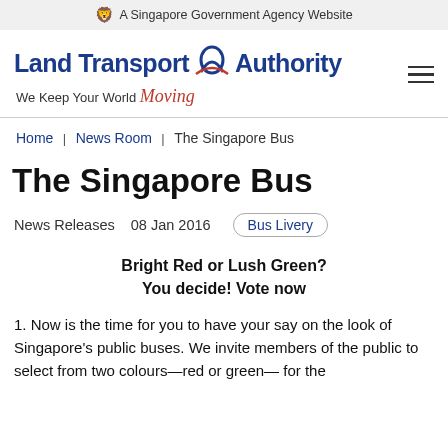A Singapore Government Agency Website
[Figure (logo): Land Transport Authority logo with ribbon/LTA symbol and tagline 'We Keep Your World Moving']
Home / News Room / The Singapore Bus
The Singapore Bus
News Releases   08 Jan 2016   Bus Livery
Bright Red or Lush Green?
You decide! Vote now
1. Now is the time for you to have your say on the look of Singapore's public buses. We invite members of the public to select from two colours—red or green— for the